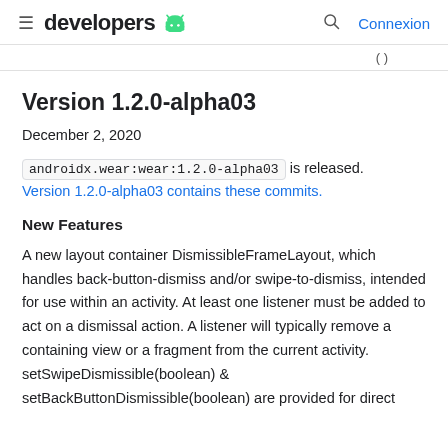developers [android logo] | [search] Connexion
( )
Version 1.2.0-alpha03
December 2, 2020
androidx.wear:wear:1.2.0-alpha03 is released. Version 1.2.0-alpha03 contains these commits.
New Features
A new layout container DismissibleFrameLayout, which handles back-button-dismiss and/or swipe-to-dismiss, intended for use within an activity. At least one listener must be added to act on a dismissal action. A listener will typically remove a containing view or a fragment from the current activity. setSwipeDismissible(boolean) & setBackButtonDismissible(boolean) are provided for direct